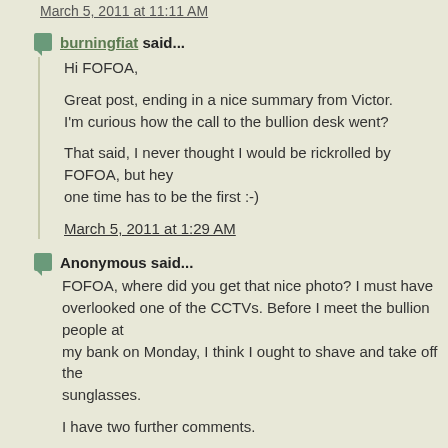March 5, 2011 at 11:11 AM
burningfiat said...
Hi FOFOA,

Great post, ending in a nice summary from Victor.
I'm curious how the call to the bullion desk went?

That said, I never thought I would be rickrolled by FOFOA, but hey one time has to be the first :-)
March 5, 2011 at 1:29 AM
Anonymous said...
FOFOA, where did you get that nice photo? I must have overlooked one of the CCTVs. Before I meet the bullion people at my bank on Monday, I think I ought to shave and take off the sunglasses.

I have two further comments.

1) Now that I have bullion in my account and can sell at spot whenever I please, I am long gold, and so my bank would be short. If they really focus on banking, they must have hedged this